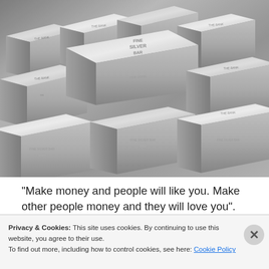[Figure (photo): Photograph of stacked shiny silver bullion bars with text engravings reading 'THE BANK', 'FINE SILVER BAR', and other markings on their surfaces. The bars are arranged in rows and columns, reflecting light with a bright metallic sheen.]
"Make money and people will like you. Make other people money and they will love you". Going to get hate mail on this, but catchy headline, huh? Most
Privacy & Cookies: This site uses cookies. By continuing to use this website, you agree to their use.
To find out more, including how to control cookies, see here: Cookie Policy
Close and accept